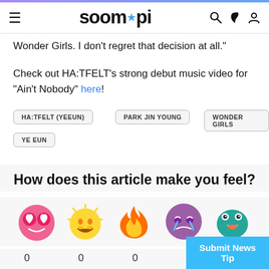soompi
Wonder Girls. I don’t regret that decision at all.”
Check out HA:TFELT’s strong debut music video for “Ain’t Nobody” here!
HA:TFELT (YEEUN)
PARK JIN YOUNG
WONDER GIRLS
YE EUN
How does this article make you feel?
[Figure (illustration): Five reaction emojis in a row: pink heart-eyes face, yellow laughing sun face, orange flame, purple crying/angry face, teal bird face]
0  0  0  0
Submit News Tip